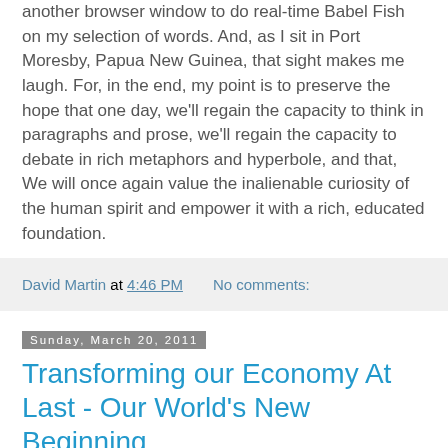another browser window to do real-time Babel Fish on my selection of words. And, as I sit in Port Moresby, Papua New Guinea, that sight makes me laugh. For, in the end, my point is to preserve the hope that one day, we'll regain the capacity to think in paragraphs and prose, we'll regain the capacity to debate in rich metaphors and hyperbole, and that, We will once again value the inalienable curiosity of the human spirit and empower it with a rich, educated foundation.
David Martin at 4:46 PM   No comments:
Sunday, March 20, 2011
Transforming our Economy At Last - Our World's New Beginning
A speech delivered on March 17, 2011 in Carpenter's Hall, Philadelphia
By Dr. David Martin, Executive Chairman of M•CAM Inc
Batten Fellow, University of Virginia